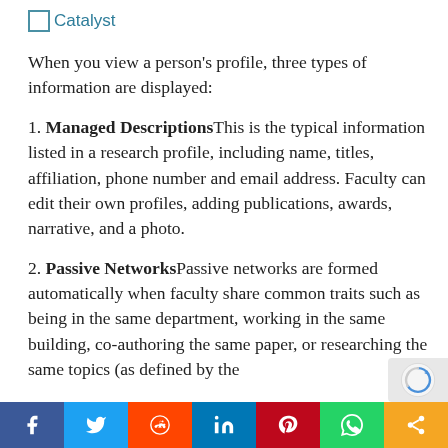Catalyst
When you view a person’s profile, three types of information are displayed:
1. Managed DescriptionsThis is the typical information listed in a research profile, including name, titles, affiliation, phone number and email address. Faculty can edit their own profiles, adding publications, awards, narrative, and a photo.
2. Passive NetworksPassive networks are formed automatically when faculty share common traits such as being in the same department, working in the same building, co-authoring the same paper, or researching the same topics (as defined by the